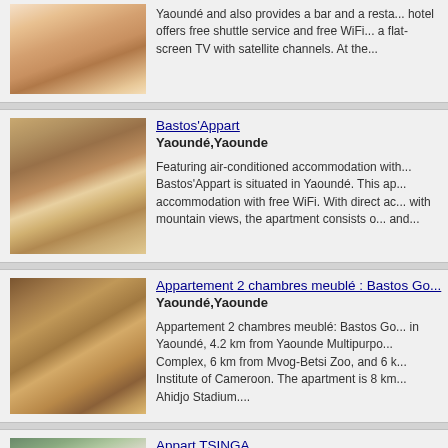[Figure (photo): Bedroom with pink bedspread and dark furniture]
Yaoundé and also provides a bar and a resta... hotel offers free shuttle service and free WiFi... a flat-screen TV with satellite channels. At the...
[Figure (photo): Exterior of Bastos'Appart showing driveway and cars]
Bastos'Appart
Yaoundé,Yaounde
Featuring air-conditioned accommodation with... Bastos'Appart is situated in Yaoundé. This ap... accommodation with free WiFi. With direct ac... with mountain views, the apartment consists o... and...
[Figure (photo): Interior kitchen of Appartement 2 chambres meublé Bastos]
Appartement 2 chambres meublé : Bastos Go...
Yaoundé,Yaounde
Appartement 2 chambres meublé: Bastos Go... in Yaoundé, 4.2 km from Yaounde Multipurpo... Complex, 6 km from Mvog-Betsi Zoo, and 6 k... Institute of Cameroon. The apartment is 8 km... Ahidjo Stadium....
[Figure (photo): Exterior of Appart TSINGA showing building facade]
Appart TSINGA
Mokolo